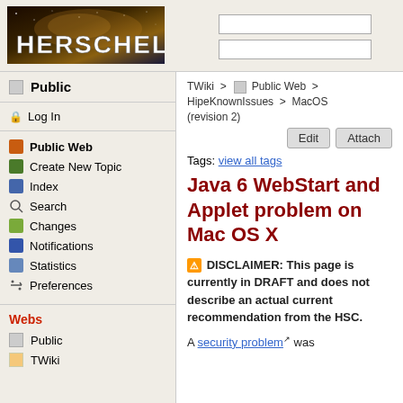[Figure (logo): Herschel space observatory logo with starfield background and HERSCHEL text]
TWiki > Public Web > HipeKnownIssues > MacOS (revision 2)
Edit  Attach
Public
Log In
Public Web
Create New Topic
Index
Search
Changes
Notifications
Statistics
Preferences
Webs
Public
TWiki
Tags: view all tags
Java 6 WebStart and Applet problem on Mac OS X
⚠ DISCLAIMER: This page is currently in DRAFT and does not describe an actual current recommendation from the HSC.
A security problem was